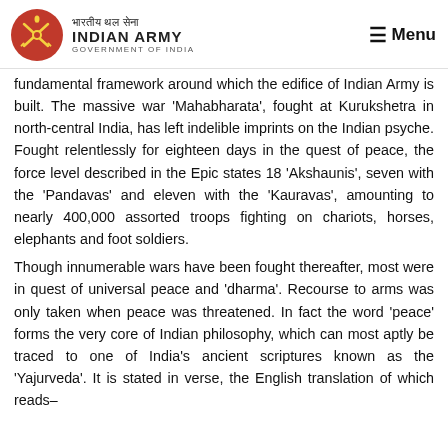Indian Army – Government of India | Menu
fundamental framework around which the edifice of Indian Army is built. The massive war 'Mahabharata', fought at Kurukshetra in north-central India, has left indelible imprints on the Indian psyche. Fought relentlessly for eighteen days in the quest of peace, the force level described in the Epic states 18 'Akshaunis', seven with the 'Pandavas' and eleven with the 'Kauravas', amounting to nearly 400,000 assorted troops fighting on chariots, horses, elephants and foot soldiers.
Though innumerable wars have been fought thereafter, most were in quest of universal peace and 'dharma'. Recourse to arms was only taken when peace was threatened. In fact the word 'peace' forms the very core of Indian philosophy, which can most aptly be traced to one of India's ancient scriptures known as the 'Yajurveda'. It is stated in verse, the English translation of which reads–